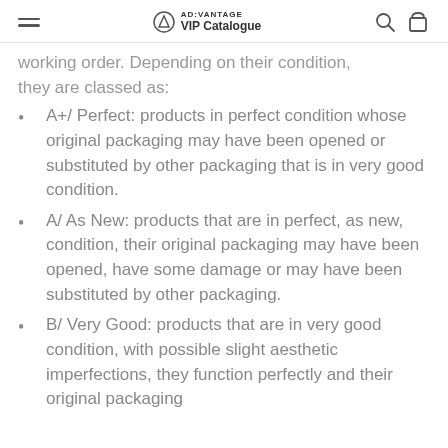AD:VANTAGE VIP Catalogue
working order. Depending on their condition, they are classed as:
A+/ Perfect: products in perfect condition whose original packaging may have been opened or substituted by other packaging that is in very good condition.
A/ As New: products that are in perfect, as new, condition, their original packaging may have been opened, have some damage or may have been substituted by other packaging.
B/ Very Good: products that are in very good condition, with possible slight aesthetic imperfections, they function perfectly and their original packaging